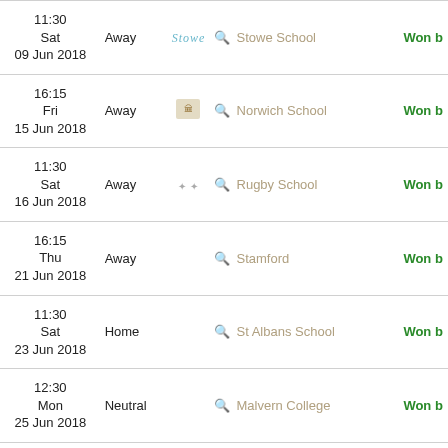| Date/Time | Venue | Logo | Opponent | Result |
| --- | --- | --- | --- | --- |
| 11:30
Sat
09 Jun 2018 | Away |  | Stowe School | Won b |
| 16:15
Fri
15 Jun 2018 | Away |  | Norwich School | Won b |
| 11:30
Sat
16 Jun 2018 | Away |  | Rugby School | Won b |
| 16:15
Thu
21 Jun 2018 | Away |  | Stamford | Won b |
| 11:30
Sat
23 Jun 2018 | Home |  | St Albans School | Won b |
| 12:30
Mon
25 Jun 2018 | Neutral |  | Malvern College | Won b |
| 13:00
Thu
28 Jun 2018 | Neutral |  | Charterhouse | Lost b |
| 11:00
Sat | Away |  | Magdalen College School | Lost b |